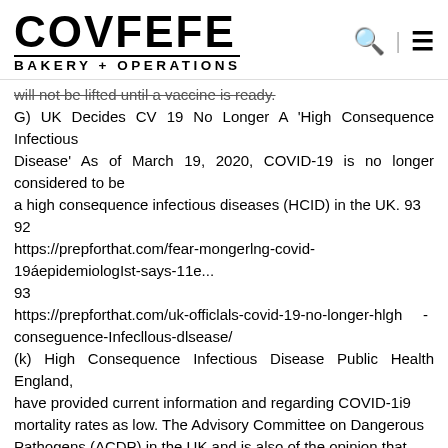COVFEFE BAKERY + OPERATIONS
will not be lifted until a vaccine is ready. G) UK Decides CV 19 No Longer A 'High Consequence Infectious Disease' As of March 19, 2020, COVID-19 is no longer considered to be a high consequence infectious diseases (HCID) in the UK. 93 92 https://prepforthat.com/fear-mongerlng-covid-19áepidemiologIst-says-11e... 93 https://prepforthat.com/uk-officlals-covid-19-no-longer-hlgh - conseguence-Infecllous-dlsease/ (k) High Consequence Infectious Disease Public Health England, have provided current information and regarding COVID-1i9 mortality rates as low. The Advisory Committee on Dangerous Pathogens (ACDP) in the UK and is also of the opinion that COVID-19 should no longer be classified as an HCID (High Consequence Infectious Disease). 94 (1) Our World in Data